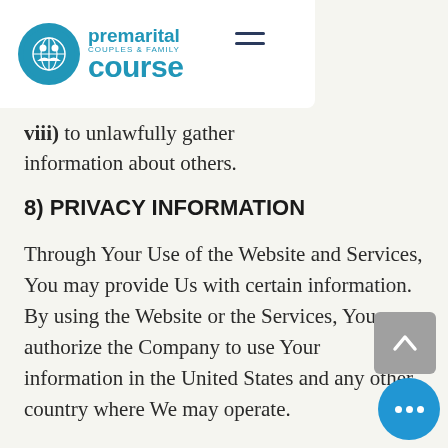premarital course — Couples & Family
viii) to unlawfully gather information about others.
8) PRIVACY INFORMATION
Through Your Use of the Website and Services, You may provide Us with certain information. By using the Website or the Services, You authorize the Company to use Your information in the United States and any other country where We may operate.
a) Information We May Collect or Receive: When You register for an account, You provide Us with a valid